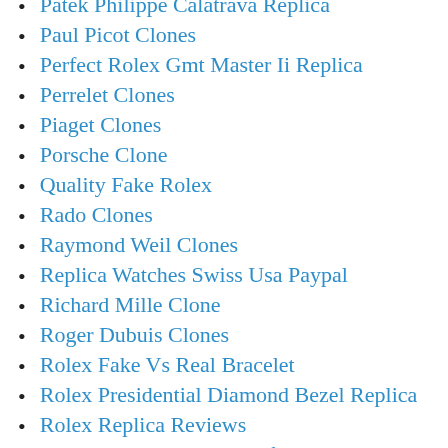Patek Philippe Calatrava Replica
Paul Picot Clones
Perfect Rolex Gmt Master Ii Replica
Perrelet Clones
Piaget Clones
Porsche Clone
Quality Fake Rolex
Rado Clones
Raymond Weil Clones
Replica Watches Swiss Usa Paypal
Richard Mille Clone
Roger Dubuis Clones
Rolex Fake Vs Real Bracelet
Rolex Presidential Diamond Bezel Replica
Rolex Replica Reviews
Rolex Replica Watches Information
Rolex Replica Watches Usa